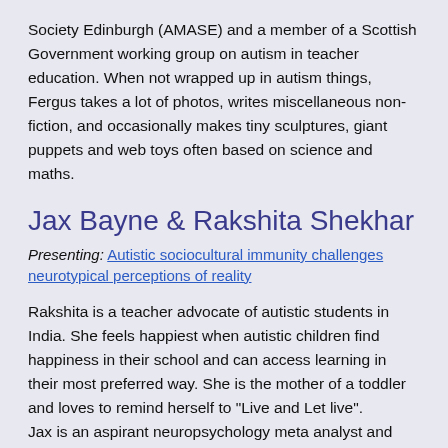Society Edinburgh (AMASE) and a member of a Scottish Government working group on autism in teacher education. When not wrapped up in autism things, Fergus takes a lot of photos, writes miscellaneous non-fiction, and occasionally makes tiny sculptures, giant puppets and web toys often based on science and maths.
Jax Bayne & Rakshita Shekhar
Presenting: Autistic sociocultural immunity challenges neurotypical perceptions of reality
Rakshita is a teacher advocate of autistic students in India. She feels happiest when autistic children find happiness in their school and can access learning in their most preferred way. She is the mother of a toddler and loves to remind herself to "Live and Let live".
Jax is an aspirant neuropsychology meta analyst and bhakti yoga practitioner. Their primary interests lie in the discussion and treatment of developmental trauma, peaceful sociocultural revolution, and learning how to become the change they wish to see in the world.